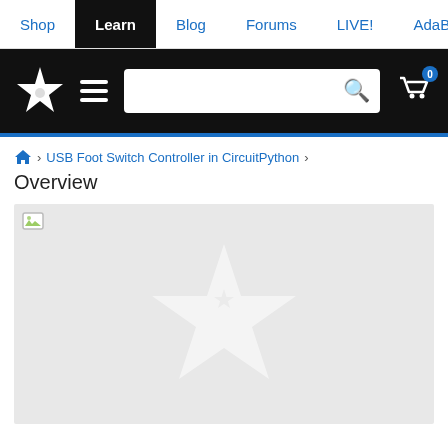Shop | Learn | Blog | Forums | LIVE! | AdaBox
[Figure (logo): Adafruit website header with star logo, hamburger menu, search bar, and shopping cart icon with badge showing 0]
🏠 > USB Foot Switch Controller in CircuitPython >
Overview
[Figure (photo): Large image placeholder (broken image) with Adafruit star watermark on grey background]